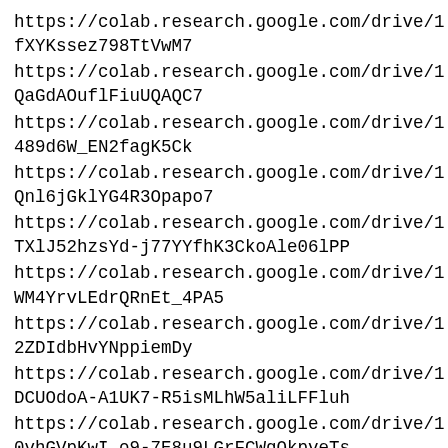https://colab.research.google.com/drive/1fXYKssez798TtVwM7
https://colab.research.google.com/drive/1QaGdAOuflFiuUQAQC7
https://colab.research.google.com/drive/1489d6W_EN2fagK5Ck
https://colab.research.google.com/drive/1Qnl6jGklYG4R3Opapo7
https://colab.research.google.com/drive/1TXlJ52hzsYd-j77YYfhK3CkoAle06lPP
https://colab.research.google.com/drive/1WM4YrvLEdrQRnEt_4PA5
https://colab.research.google.com/drive/12ZDIdbHvYNppiemDy
https://colab.research.google.com/drive/1DCUOdoA-A1UK7-R5isMLhW5aliLFFluh
https://colab.research.google.com/drive/10vhGVpKwI_o9-7E8u9LGrFCWgQkpveTs
https://colab.research.google.com/drive/1MQjA7dmK6tGAVY-zFBrtNv0Vz1NCtBTo
https://colab.research.google.com/drive/1j33pFo7DCKwgp6RBShioRCCN3A8jxL